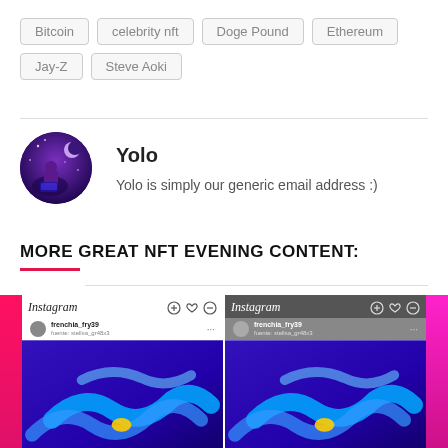Bitcoin
celebrity nft
Doge Pound
Ethereum
Jay-Z
Steve Aoki
Yolo
Yolo is simply our generic email address :)
MORE GREAT NFT EVENING CONTENT:
[Figure (screenshot): Two Instagram screenshots side by side showing a post from frenchia_fry39 with a colorful abstract 3D render featuring blue wave shapes and a yellow element on a purple/dark background. Left card has white header, right card has dark/grey header. Both cards are flanked by hot pink/magenta edges.]